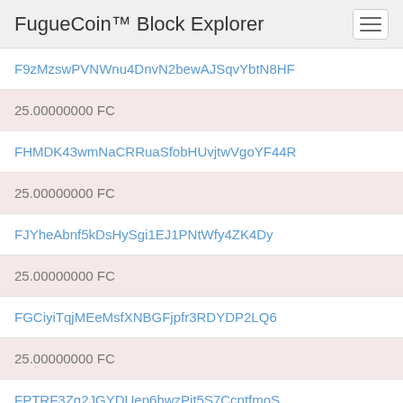FugueCoin™ Block Explorer
F9zMzswPVNWnu4DnvN2bewAJSqvYbtN8HF
25.00000000 FC
FHMDK43wmNaCRRuaSfobHUvjtwVgoYF44R
25.00000000 FC
FJYheAbnf5kDsHySgi1EJ1PNtWfy4ZK4Dy
25.00000000 FC
FGCiyiTqjMEeMsfXNBGFjpfr3RDYDP2LQ6
25.00000000 FC
FPTRF3Zq2JGYDUep6hwzPit5S7CcptfmoS
25.00000000 FC
F6qRD8gLNamQo4k7TqcHSt8R8sC3VfwMhf